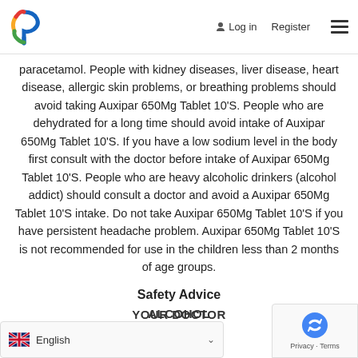Log in | Register
paracetamol. People with kidney diseases, liver disease, heart disease, allergic skin problems, or breathing problems should avoid taking Auxipar 650Mg Tablet 10'S. People who are dehydrated for a long time should avoid intake of Auxipar 650Mg Tablet 10'S. If you have a low sodium level in the body first consult with the doctor before intake of Auxipar 650Mg Tablet 10'S. People who are heavy alcoholic drinkers (alcohol addict) should consult a doctor and avoid a Auxipar 650Mg Tablet 10'S intake. Do not take Auxipar 650Mg Tablet 10'S if you have persistent headache problem. Auxipar 650Mg Tablet 10'S is not recommended for use in the children less than 2 months of age groups.
Safety Advice
ALCOHOL